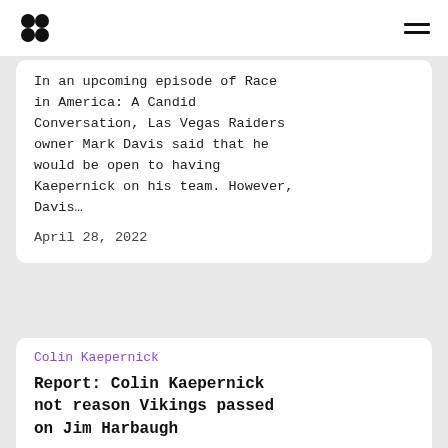[logo] [hamburger menu]
In an upcoming episode of Race in America: A Candid Conversation, Las Vegas Raiders owner Mark Davis said that he would be open to having Kaepernick on his team. However, Davis…
April 28, 2022
Colin Kaepernick
Report: Colin Kaepernick not reason Vikings passed on Jim Harbaugh
The personal relationship